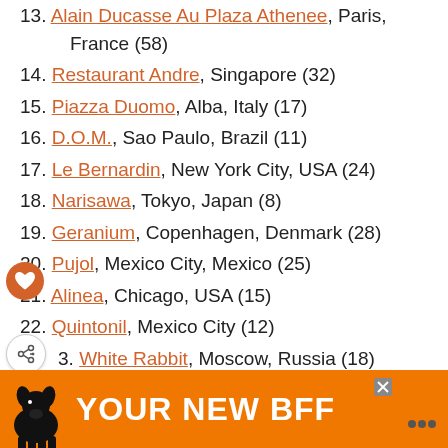13. Alain Ducasse Au Plaza Athenee, Paris, France (58)
14. Restaurant Andre, Singapore (32)
15. Piazza Duomo, Alba, Italy (17)
16. D.O.M., Sao Paulo, Brazil (11)
17. Le Bernardin, New York City, USA (24)
18. Narisawa, Tokyo, Japan (8)
19. Geranium, Copenhagen, Denmark (28)
20. Pujol, Mexico City, Mexico (25)
21. Alinea, Chicago, USA (15)
22. Quintonil, Mexico City (12)
23. White Rabbit, Moscow, Russia (18)
24. Amber, Hong Kong, China (20)
25. Tickets, Barcelona, Spain (29)
[Figure (screenshot): Orange advertisement banner with a dog silhouette and text YOUR NEW BFF, with a close X button and a logo in the bottom right.]